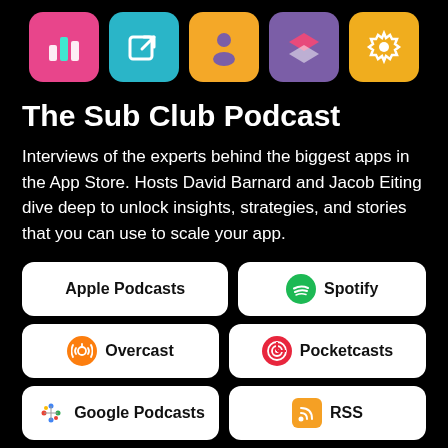[Figure (illustration): Row of 5 app icons: pink bar chart icon, teal external link icon, orange person/profile icon, purple layers icon, yellow settings/gear icon]
The Sub Club Podcast
Interviews of the experts behind the biggest apps in the App Store. Hosts David Barnard and Jacob Eiting dive deep to unlock insights, strategies, and stories that you can use to scale your app.
[Figure (infographic): Six podcast platform buttons: Apple Podcasts, Spotify, Overcast, Pocketcasts, Google Podcasts, RSS]